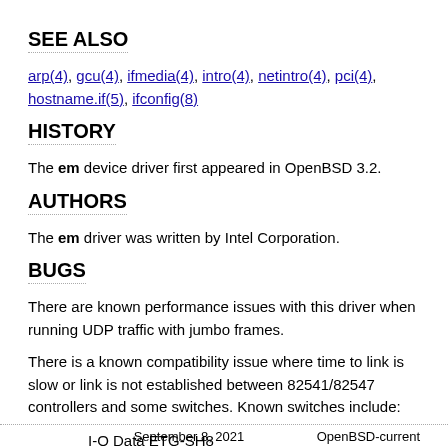SEE ALSO
arp(4), gcu(4), ifmedia(4), intro(4), netintro(4), pci(4), hostname.if(5), ifconfig(8)
HISTORY
The em device driver first appeared in OpenBSD 3.2.
AUTHORS
The em driver was written by Intel Corporation.
BUGS
There are known performance issues with this driver when running UDP traffic with jumbo frames.
There is a known compatibility issue where time to link is slow or link is not established between 82541/82547 controllers and some switches. Known switches include:
I-O Data ETG-SH8
Planex FXG-08TE
September 8, 2021    OpenBSD-current